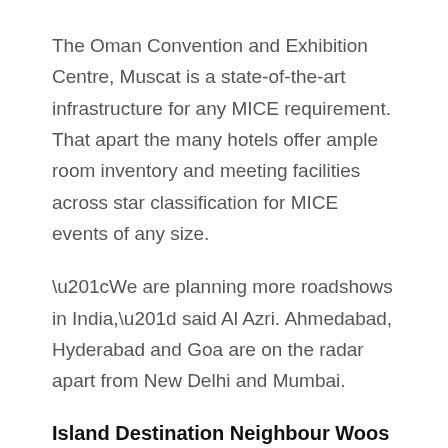The Oman Convention and Exhibition Centre, Muscat is a state-of-the-art infrastructure for any MICE requirement. That apart the many hotels offer ample room inventory and meeting facilities across star classification for MICE events of any size.
“We are planning more roadshows in India,” said Al Azri. Ahmedabad, Hyderabad and Goa are on the radar apart from New Delhi and Mumbai.
Island Destination Neighbour Woos Indian Investments in Hospitality Sector
Sri Lanka’s tourism minister John Amaratunga was at all the major travel trade events in January. Kumar De